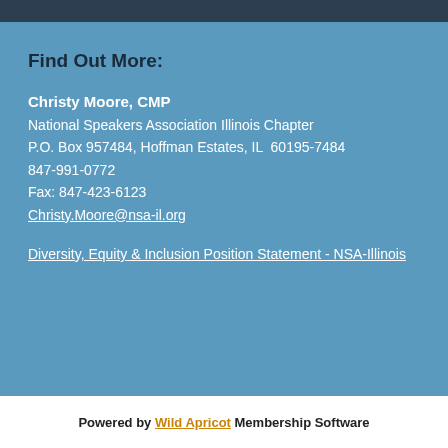Find Out More:
Christy Moore, CMP
National Speakers Association Illinois Chapter
P.O. Box 957484, Hoffman Estates, IL  60195-7484
847-991-0772
Fax: 847-423-6123
Christy.Moore@nsa-il.org
Diversity, Equity & Inclusion Position Statement - NSA-Illinois
Search
Powered by Wild Apricot Membership Software